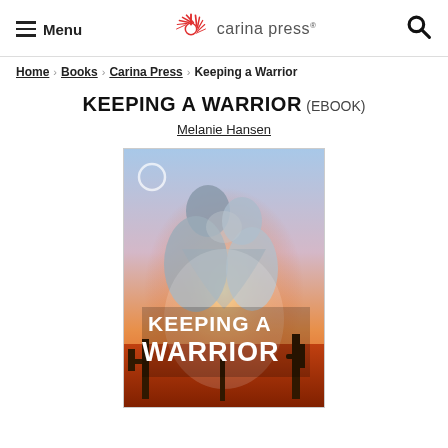Menu | carina press | [search]
Home > Books > Carina Press > Keeping a Warrior
KEEPING A WARRIOR (EBOOK)
Melanie Hansen
[Figure (photo): Book cover of 'Keeping a Warrior' showing a couple (man and woman) facing each other closely against a desert sunset background with cacti silhouettes. The book title 'KEEPING A WARRIOR' is displayed in bold white text over the lower portion of the cover.]